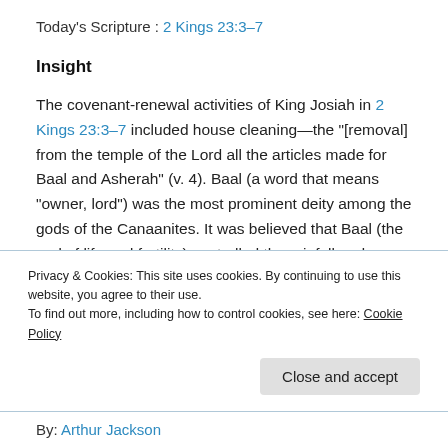Today's Scripture : 2 Kings 23:3–7
Insight
The covenant-renewal activities of King Josiah in 2 Kings 23:3–7 included house cleaning—the "[removal] from the temple of the Lord all the articles made for Baal and Asherah" (v. 4). Baal (a word that means "owner, lord") was the most prominent deity among the gods of the Canaanites. It was believed that Baal (the god of life and fertility) controlled the rainfall and crop production. Asherah was the female companion of Baal. Depending on the context...
Privacy & Cookies: This site uses cookies. By continuing to use this website, you agree to their use.
To find out more, including how to control cookies, see here: Cookie Policy
By: Arthur Jackson